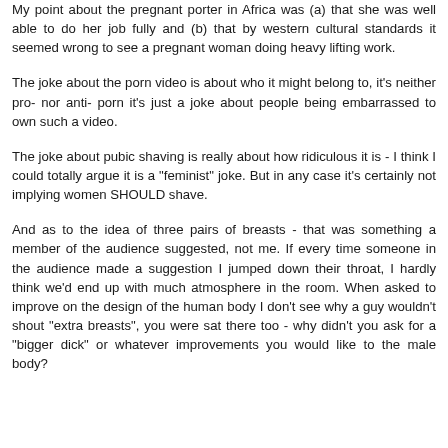My point about the pregnant porter in Africa was (a) that she was well able to do her job fully and (b) that by western cultural standards it seemed wrong to see a pregnant woman doing heavy lifting work.
The joke about the porn video is about who it might belong to, it's neither pro- nor anti- porn it's just a joke about people being embarrassed to own such a video.
The joke about pubic shaving is really about how ridiculous it is - I think I could totally argue it is a "feminist" joke. But in any case it's certainly not implying women SHOULD shave.
And as to the idea of three pairs of breasts - that was something a member of the audience suggested, not me. If every time someone in the audience made a suggestion I jumped down their throat, I hardly think we'd end up with much atmosphere in the room. When asked to improve on the design of the human body I don't see why a guy wouldn't shout "extra breasts", you were sat there too - why didn't you ask for a "bigger dick" or whatever improvements you would like to the male body?